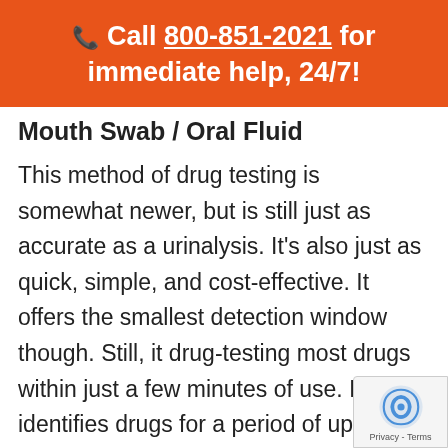📞 Call 800-851-2021 for immediate help, 24/7!
Mouth Swab / Oral Fluid
This method of drug testing is somewhat newer, but is still just as accurate as a urinalysis. It's also just as quick, simple, and cost-effective. It offers the smallest detection window though. Still, it drug-testing most drugs within just a few minutes of use. It also identifies drugs for a period of up to